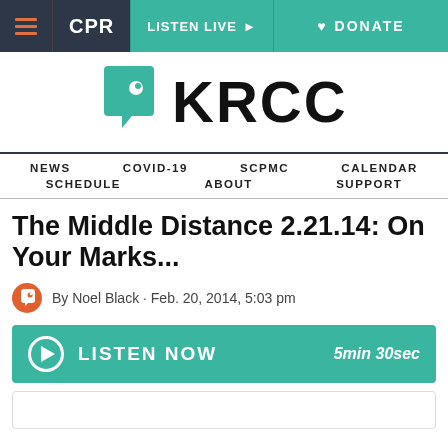CPR | LISTEN LIVE | DONATE
[Figure (logo): KRCC logo with teal speech bubble icon and bold black KRCC text]
NEWS | COVID-19 | SCPMC | CALENDAR | SCHEDULE | ABOUT | SUPPORT
The Middle Distance 2.21.14: On Your Marks...
By Noel Black · Feb. 20, 2014, 5:03 pm
LISTEN NOW  5min 30sec